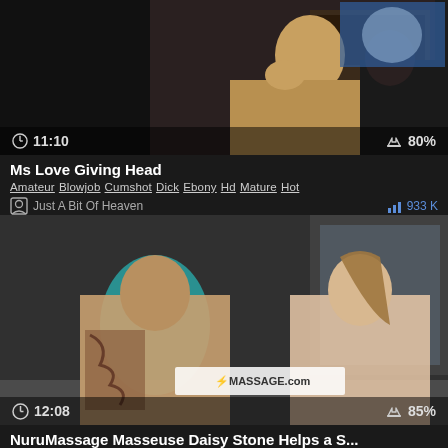[Figure (screenshot): Video thumbnail showing a blonde woman, dark background, duration 11:10, rating 80%]
Ms Love Giving Head
Amateur  Blowjob  Cumshot  Dick  Ebony  Hd  Mature  Hot
Just A Bit Of Heaven    933 K
[Figure (screenshot): Video thumbnail showing a tattooed man and a blonde woman in a bathtub, NuruMassage.com watermark, duration 12:08, rating 85%]
NuruMassage Masseuse Daisy Stone Helps a S...
18  Ass  Blonde  Dick  Hd  Massage  Shy  Teen
Nuru Massage    348.3 K